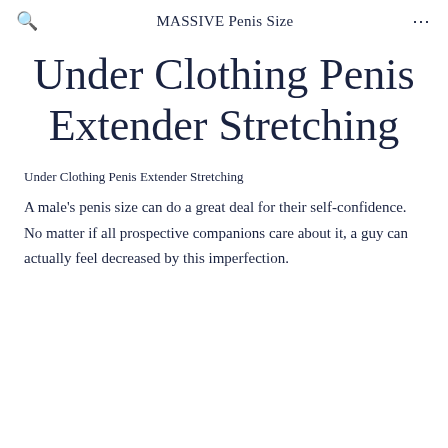MASSIVE Penis Size
Under Clothing Penis Extender Stretching
Under Clothing Penis Extender Stretching
A male's penis size can do a great deal for their self-confidence. No matter if all prospective companions care about it, a guy can actually feel decreased by this imperfection.